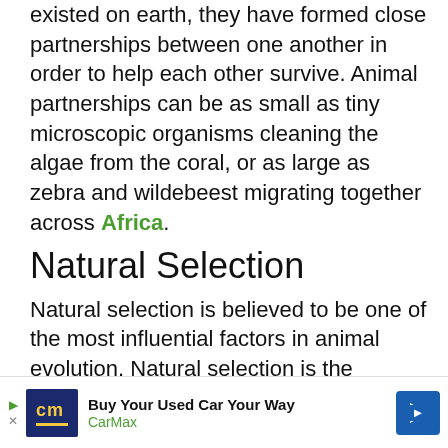existed on earth, they have formed close partnerships between one another in order to help each other survive. Animal partnerships can be as small as tiny microscopic organisms cleaning the algae from the coral, or as large as zebra and wildebeest migrating together across Africa.
Natural Selection
Natural selection is believed to be one of the most influential factors in animal evolution. Natural selection is the process where likeable or successful traits in an animal are passed along to the young in order to give them a better chance of survival. Favourable traits passed down through generations become more common in char... our.
[Figure (other): CarMax advertisement banner: Buy Your Used Car Your Way]